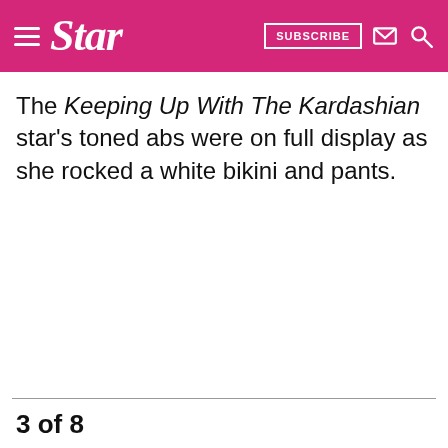Star | SUBSCRIBE
The Keeping Up With The Kardashian star's toned abs were on full display as she rocked a white bikini and pants.
3 of 8